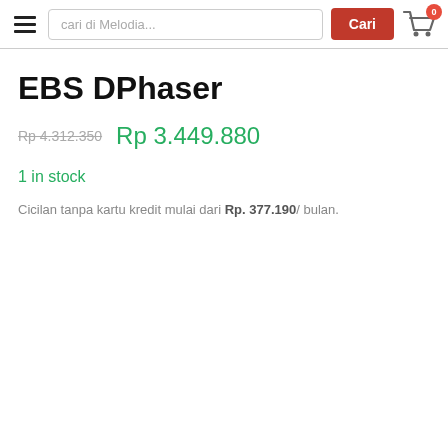cari di Melodia... Cari
EBS DPhaser
Rp 4.312.350  Rp 3.449.880
1 in stock
Cicilan tanpa kartu kredit mulai dari Rp. 377.190/ bulan.